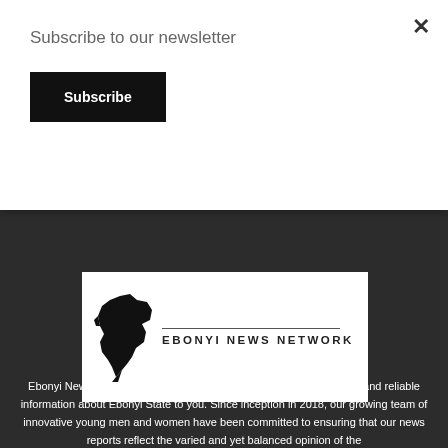Subscribe to our newsletter
Subscribe
×
[Figure (logo): Ebonyi News Network logo: black silhouette of a map shape on the left, with a horizontal line above bold text reading 'EBONYI NEWS NETWORK' on the right, on a white background.]
ABOUT US
Ebonyi News Network is an online news platform that delivers timely and reliable information about Ebonyi State to you. Since inception in 2018, our growing team of innovative young men and women have been committed to ensuring that our news reports reflect the varied and yet balanced opinion of the